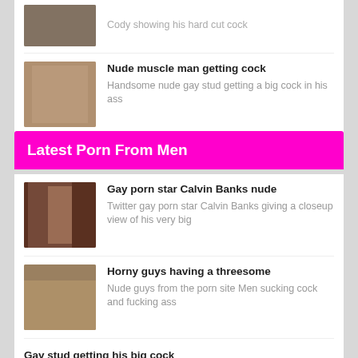Cody showing his hard cut cock
Nude muscle man getting cock
Handsome nude gay stud getting a big cock in his ass
Latest Porn From Men
Gay porn star Calvin Banks nude
Twitter gay porn star Calvin Banks giving a closeup view of his very big
Horny guys having a threesome
Nude guys from the porn site Men sucking cock and fucking ass
Gay stud getting his big cock
Cute nude muscle man with a big boner getting a blowjob
Nude gay man with erection